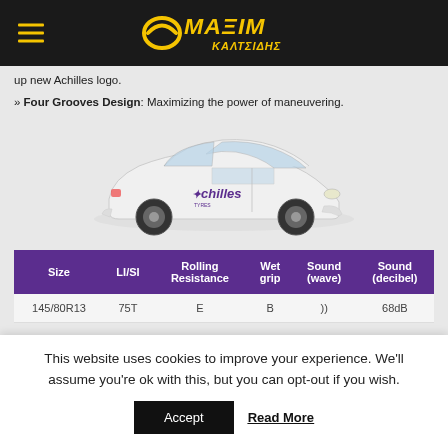ΜΑΞIM ΚΑΛΤΣΙΔΗΣ
up new Achilles logo.
» Four Grooves Design: Maximizing the power of maneuvering.
[Figure (photo): White hatchback car with Achilles Tyres branding on the door, shown from the side on a light grey background.]
| Size | LI/SI | Rolling Resistance | Wet grip | Sound (wave) | Sound (decibel) |
| --- | --- | --- | --- | --- | --- |
| 145/80R13 | 75T | E | B | )) | 68dB |
This website uses cookies to improve your experience. We'll assume you're ok with this, but you can opt-out if you wish.